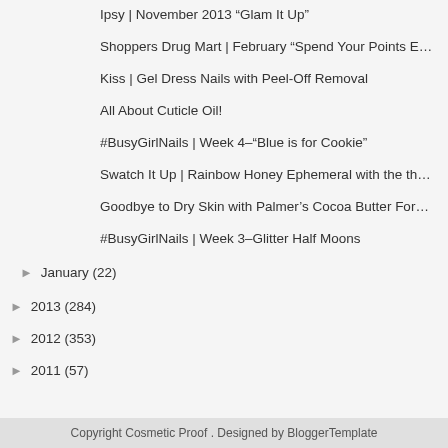Ipsy | November 2013 “Glam It Up”
Shoppers Drug Mart | February “Spend Your Points E…
Kiss | Gel Dress Nails with Peel-Off Removal
All About Cuticle Oil!
#BusyGirlNails | Week 4–“Blue is for Cookie”
Swatch It Up | Rainbow Honey Ephemeral with the th…
Goodbye to Dry Skin with Palmer’s Cocoa Butter For…
#BusyGirlNails | Week 3–Glitter Half Moons
► January (22)
► 2013 (284)
► 2012 (353)
► 2011 (57)
Copyright Cosmetic Proof . Designed by BloggerTemplate